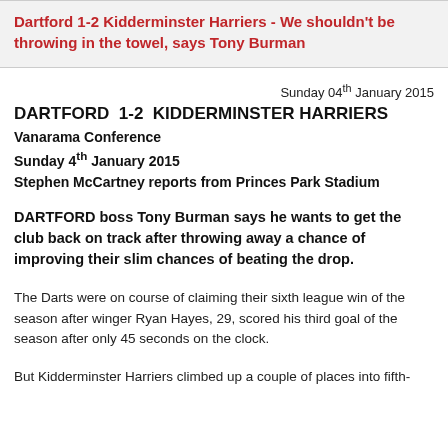Dartford 1-2 Kidderminster Harriers - We shouldn't be throwing in the towel, says Tony Burman
Sunday 04th January 2015
DARTFORD  1-2  KIDDERMINSTER HARRIERS
Vanarama Conference
Sunday 4th January 2015
Stephen McCartney reports from Princes Park Stadium
DARTFORD boss Tony Burman says he wants to get the club back on track after throwing away a chance of improving their slim chances of beating the drop.
The Darts were on course of claiming their sixth league win of the season after winger Ryan Hayes, 29, scored his third goal of the season after only 45 seconds on the clock.
But Kidderminster Harriers climbed up a couple of places into fifth-